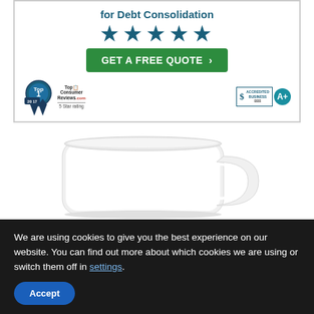[Figure (screenshot): Advertisement banner for debt consolidation service. Shows text 'for Debt Consolidation', five blue stars, a green 'GET A FREE QUOTE >' button, Top Consumer Reviews 2017 award ribbon with 5 Star rating, and BBB Accredited Business A+ badge.]
[Figure (photo): White ceramic coffee mug photographed against white background, showing the mug from a front-side angle with handle visible on the right.]
We are using cookies to give you the best experience on our website. You can find out more about which cookies we are using or switch them off in settings.
Accept